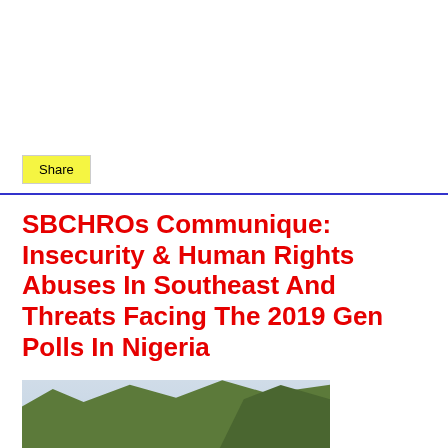Share
SBCHROs Communique: Insecurity & Human Rights Abuses In Southeast And Threats Facing The 2019 Gen Polls In Nigeria
[Figure (photo): Outdoor community meeting with people gathered under trees, viewed from behind, with trees and sky in the background.]